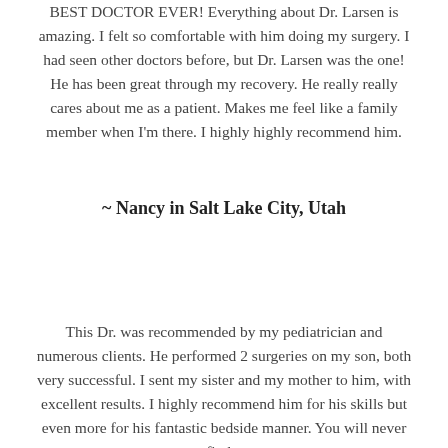BEST DOCTOR EVER! Everything about Dr. Larsen is amazing. I felt so comfortable with him doing my surgery. I had seen other doctors before, but Dr. Larsen was the one! He has been great through my recovery. He really really cares about me as a patient. Makes me feel like a family member when I'm there. I highly highly recommend him.
~ Nancy in Salt Lake City, Utah
This Dr. was recommended by my pediatrician and numerous clients. He performed 2 surgeries on my son, both very successful. I sent my sister and my mother to him, with excellent results. I highly recommend him for his skills but even more for his fantastic bedside manner. You will never find a